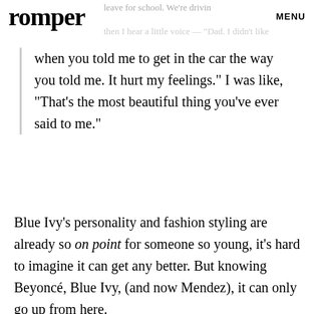romper   MENU
leave for school. We're drivin then I hear a little voice — "Dad. I didn't like
when you told me to get in the car the way you told me. It hurt my feelings." I was like, "That's the most beautiful thing you've ever said to me."
Blue Ivy's personality and fashion styling are already so on point for someone so young, it's hard to imagine it can get any better. But knowing Beyoncé, Blue Ivy, (and now Mendez), it can only go up from here.